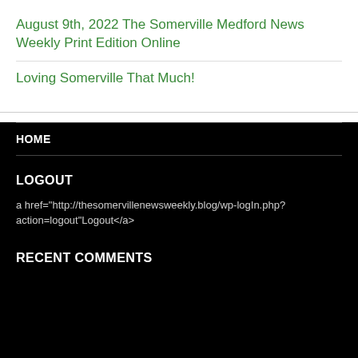August 9th, 2022 The Somerville Medford News Weekly Print Edition Online
Loving Somerville That Much!
HOME
LOGOUT
a href="http://thesomervillenewsweekly.blog/wp-logIn.php?action=logout"Logout</a>
RECENT COMMENTS